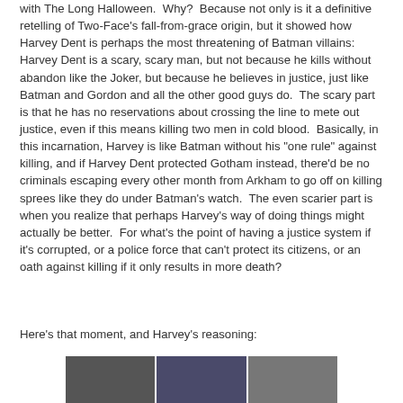with The Long Halloween.  Why?  Because not only is it a definitive retelling of Two-Face's fall-from-grace origin, but it showed how Harvey Dent is perhaps the most threatening of Batman villains: Harvey Dent is a scary, scary man, but not because he kills without abandon like the Joker, but because he believes in justice, just like Batman and Gordon and all the other good guys do.  The scary part is that he has no reservations about crossing the line to mete out justice, even if this means killing two men in cold blood.  Basically, in this incarnation, Harvey is like Batman without his "one rule" against killing, and if Harvey Dent protected Gotham instead, there'd be no criminals escaping every other month from Arkham to go off on killing sprees like they do under Batman's watch.  The even scarier part is when you realize that perhaps Harvey's way of doing things might actually be better.  For what's the point of having a justice system if it's corrupted, or a police force that can't protect its citizens, or an oath against killing if it only results in more death?
Here's that moment, and Harvey's reasoning:
[Figure (photo): Comic strip panels showing dark figures, partially visible at bottom of page]